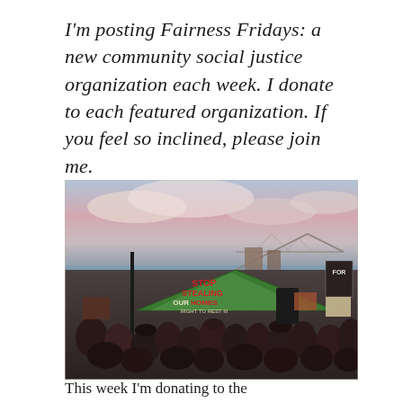I'm posting Fairness Fridays: a new community social justice organization each week. I donate to each featured organization. If you feel so inclined, please join me.
[Figure (photo): Outdoor protest/rally scene with a crowd of people holding signs. A large green tent prominently displays 'STOP STEALING OUR HOMES' and 'RIGHT TO REST III' in painted letters. A bridge (Bay Bridge, San Francisco) is visible in the background under a partly cloudy sky with pink-tinged clouds.]
This week I'm donating to the